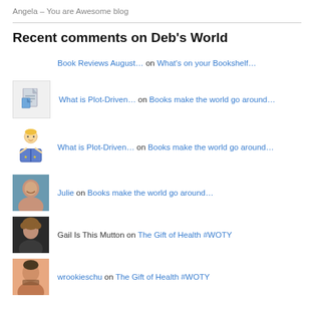Angela – You are Awesome blog
Recent comments on Deb's World
Book Reviews August… on What's on your Bookshelf…
What is Plot-Driven… on Books make the world go around…
What is Plot-Driven… on Books make the world go around…
Julie on Books make the world go around…
Gail Is This Mutton on The Gift of Health #WOTY
wrookieschu on The Gift of Health #WOTY